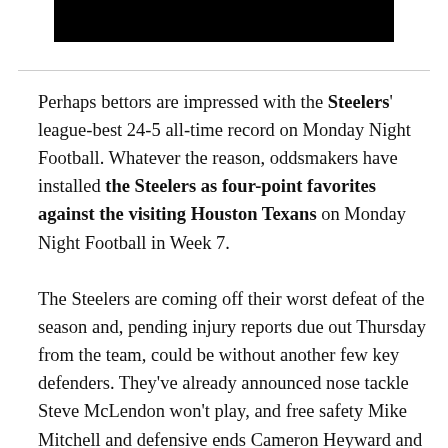[Figure (other): Black rectangular image/photo block at the top of the page]
Perhaps bettors are impressed with the Steelers' league-best 24-5 all-time record on Monday Night Football. Whatever the reason, oddsmakers have installed the Steelers as four-point favorites against the visiting Houston Texans on Monday Night Football in Week 7.
The Steelers are coming off their worst defeat of the season and, pending injury reports due out Thursday from the team, could be without another few key defenders. They've already announced nose tackle Steve McLendon won't play, and free safety Mike Mitchell and defensive ends Cameron Heyward and Brett Keisel are all injured toward the end of their...